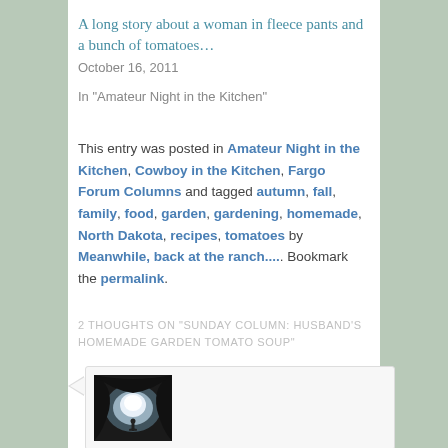A long story about a woman in fleece pants and a bunch of tomatoes…
October 16, 2011
In "Amateur Night in the Kitchen"
This entry was posted in Amateur Night in the Kitchen, Cowboy in the Kitchen, Fargo Forum Columns and tagged autumn, fall, family, food, garden, gardening, homemade, North Dakota, recipes, tomatoes by Meanwhile, back at the ranch.... Bookmark the permalink.
2 THOUGHTS ON "SUNDAY COLUMN: HUSBAND'S HOMEMADE GARDEN TOMATO SOUP"
[Figure (photo): A person silhouetted inside a cave opening looking out toward a bright seascape]